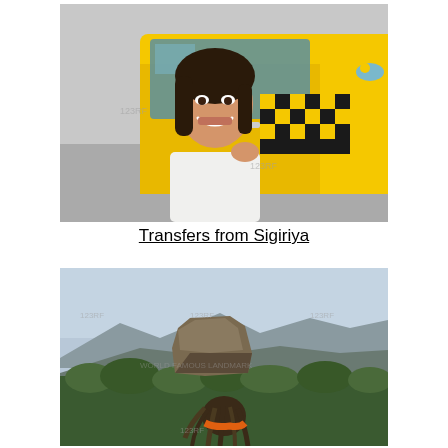[Figure (photo): Woman smiling while sitting in a yellow taxi cab, holding the door frame. Yellow cab with black and white checker pattern stripe visible.]
Transfers from Sigiriya
[Figure (photo): Landscape view of Sigiriya rock fortress rising above dense green forest, with mountains in the background and a person with dreadlocks visible in the foreground.]